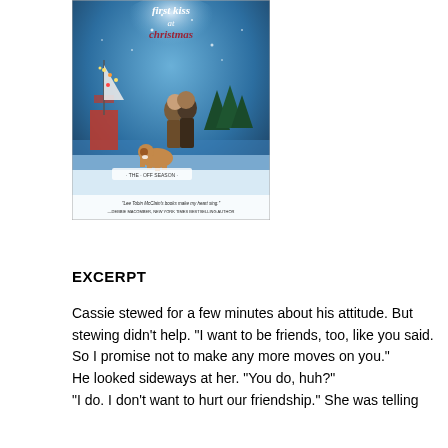[Figure (illustration): Book cover of 'First Kiss at Christmas' – The Off Season series. Shows a couple embracing in a snowy winter scene near a harbor with a sailboat decorated with lights. A Saint Bernard dog sits nearby. Text at bottom: "Lee Tobin McClain's books make my heart sing" —DEBBIE MACOMBER, NEW YORK TIMES BESTSELLING AUTHOR. Title text in white and maroon/dark red.]
EXCERPT
Cassie stewed for a few minutes about his attitude. But stewing didn't help. "I want to be friends, too, like you said. So I promise not to make any more moves on you."
He looked sideways at her. "You do, huh?"
"I do. I don't want to hurt our friendship." She was telling